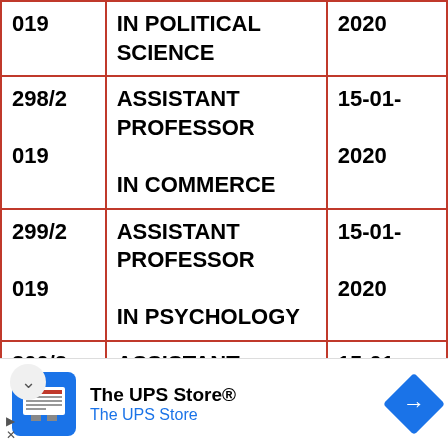| 019 | IN POLITICAL SCIENCE | 2020 |
| 298/2
019 | ASSISTANT PROFESSOR
IN COMMERCE | 15-01-
2020 |
| 299/2
019 | ASSISTANT PROFESSOR
IN PSYCHOLOGY | 15-01-
2020 |
| 300/2
019 | ASSISTANT PROFESSOR
IN SOCIOLOGY | 15-01-
2020 |
| …/2 | ASSISTANT PROFESSOR | 15-01- |
[Figure (other): Advertisement bar for The UPS Store with logo icon, store name and navigation arrow]